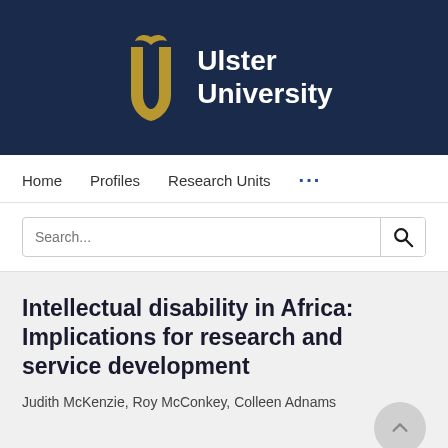[Figure (logo): Ulster University logo: gold stylized U letterform with a small bird/leaf at top, beside white bold text reading 'Ulster University', on a dark navy blue background]
Home   Profiles   Research Units   ...
Search...
Intellectual disability in Africa: Implications for research and service development
Judith McKenzie, Roy McConkey, Colleen Adnams